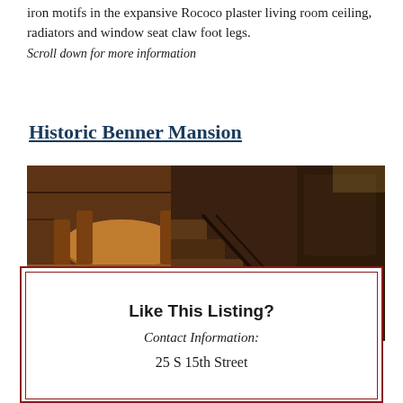iron motifs in the expansive Rococo plaster living room ceiling, radiators and window seat claw foot legs.
Scroll down for more information
Historic Benner Mansion
[Figure (photo): Interior dining room with dark wood paneling, round wooden table and chairs]
[Figure (photo): Interior staircase with dark wood paneling and floral arrangement]
Like This Listing?
Contact Information:
25 S 15th Street